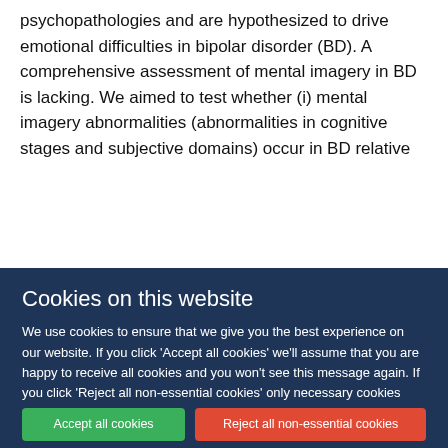psychopathologies and are hypothesized to drive emotional difficulties in bipolar disorder (BD). A comprehensive assessment of mental imagery in BD is lacking. We aimed to test whether (i) mental imagery abnormalities (abnormalities in cognitive stages and subjective domains) occur in BD relative
Cookies on this website
We use cookies to ensure that we give you the best experience on our website. If you click 'Accept all cookies' we'll assume that you are happy to receive all cookies and you won't see this message again. If you click 'Reject all non-essential cookies' only necessary cookies providing core functionality such as security, network management, and accessibility will be enabled. Click 'Find out more' for information on how to change your cookie settings.
Accept all cookies
Reject all non-essential cookies